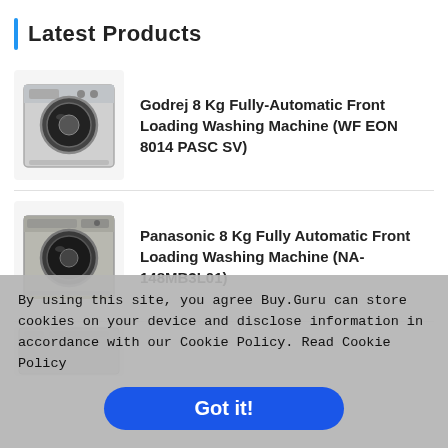Latest Products
Godrej 8 Kg Fully-Automatic Front Loading Washing Machine (WF EON 8014 PASC SV)
Panasonic 8 Kg Fully Automatic Front Loading Washing Machine (NA-148MB3L01)
[Figure (photo): Partial view of a third washing machine product, cropped at bottom]
By using this site, you agree Buy.Guru can store cookies on your device and disclose information in accordance with our Cookie Policy. Read Cookie Policy
Got it!